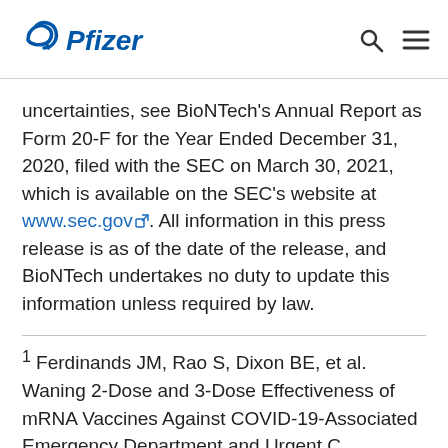Pfizer [logo]
uncertainties, see BioNTech's Annual Report as Form 20-F for the Year Ended December 31, 2020, filed with the SEC on March 30, 2021, which is available on the SEC's website at www.sec.gov. All information in this press release is as of the date of the release, and BioNTech undertakes no duty to update this information unless required by law.
1 Ferdinands JM, Rao S, Dixon BE, et al. Waning 2-Dose and 3-Dose Effectiveness of mRNA Vaccines Against COVID-19-Associated Emergency Department and Urgent C...